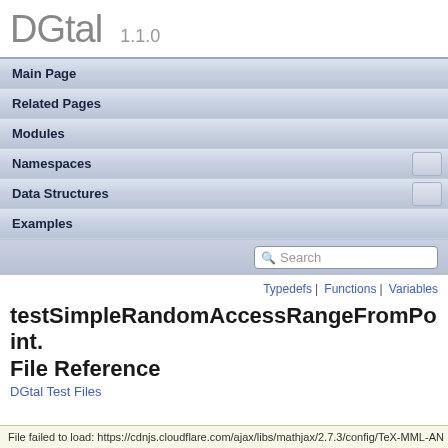DGtal 1.1.0
Main Page
Related Pages
Modules
Namespaces
Data Structures
Examples
Typedefs | Functions | Variables
testSimpleRandomAccessRangeFromPoint. File Reference
DGtal Test Files
File failed to load: https://cdnjs.cloudflare.com/ajax/libs/mathjax/2.7.3/config/TeX-MML-AN